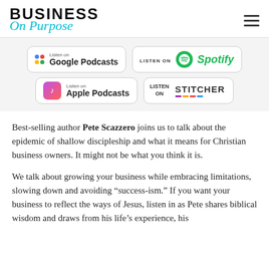Business On Purpose
[Figure (logo): Business On Purpose logo with hamburger menu icon]
[Figure (infographic): Four podcast platform badges: Google Podcasts, Spotify, Apple Podcasts, Stitcher]
Best-selling author Pete Scazzero joins us to talk about the epidemic of shallow discipleship and what it means for Christian business owners.  It might not be what you think it is.
We talk about growing your business while embracing limitations, slowing down and avoiding “success-ism.”  If you want your business to reflect the ways of Jesus, listen in as Pete shares biblical wisdom and draws from his life’s experience, his